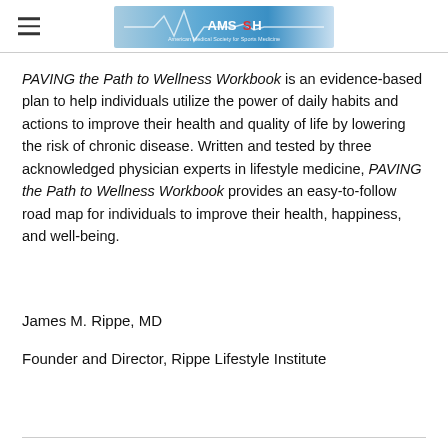AMSSH logo header
PAVING the Path to Wellness Workbook is an evidence-based plan to help individuals utilize the power of daily habits and actions to improve their health and quality of life by lowering the risk of chronic disease. Written and tested by three acknowledged physician experts in lifestyle medicine, PAVING the Path to Wellness Workbook provides an easy-to-follow road map for individuals to improve their health, happiness, and well-being.
James M. Rippe, MD
Founder and Director, Rippe Lifestyle Institute